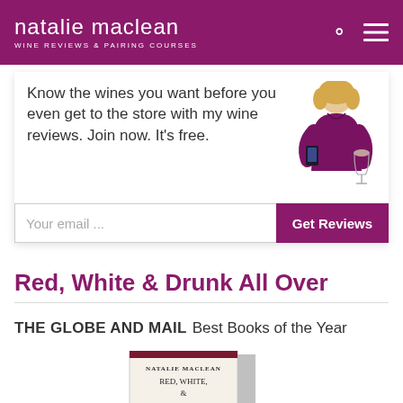natalie maclean — WINE REVIEWS & PAIRING COURSES
[Figure (infographic): Promotional card with woman holding wine glass and phone, email signup form. Text: Know the wines you want before you even get to the store with my wine reviews. Join now. It's free.]
Red, White & Drunk All Over
THE GLOBE AND MAIL Best Books of the Year
[Figure (photo): Partially visible book cover: Natalie MacLean — Red, White...]